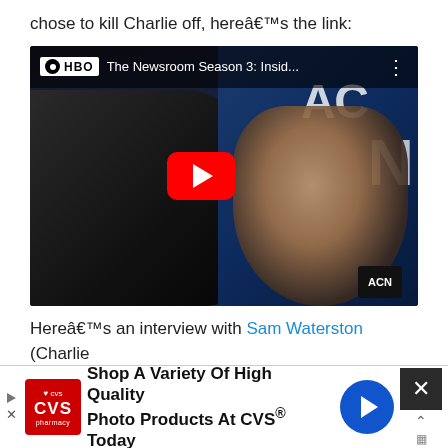chose to kill Charlie off, hereâ€™s the link:
[Figure (screenshot): YouTube video thumbnail for 'HBO The Newsroom Season 3: Insid...' showing two people seated at a desk in a TV studio setting with ACN branding. A red YouTube play button is centered on the video. HBO logo and title are shown in a bar at the top of the video player.]
Hereâ€™s an interview with Sam Waterston (Charlie
[Figure (screenshot): CVS Pharmacy advertisement banner: 'Shop A Variety Of High Quality Photo Products At CVS® Today' with CVS logo, blue arrow icon, and close (X) button.]